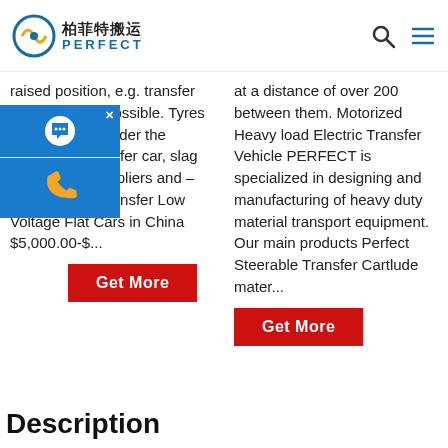柏菲特搬运 PERFECT
raised position, e.g. transfer car or landing possible. Tyres are protected under the trailer. slag transfer car, slag transfer car Suppliers and – Alibaba Slag Transfer Low Voltage Flat Cars in China $5,000.00-$...
at a distance of over 200 between them. Motorized Heavy load Electric Transfer Vehicle PERFECT is specialized in designing and manufacturing of heavy duty material transport equipment. Our main products Perfect Steerable Transfer Cartlude mater...
[Figure (other): Chat and phone contact widget — blue rounded box with chat bubble icon and orange phone icon]
Description